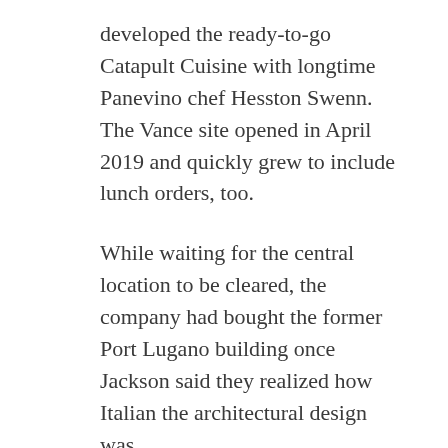developed the ready-to-go Catapult Cuisine with longtime Panevino chef Hesston Swenn. The Vance site opened in April 2019 and quickly grew to include lunch orders, too.
While waiting for the central location to be cleared, the company had bought the former Port Lugano building once Jackson said they realized how Italian the architectural design was.
The south location, at 813 S. Van Buren, opened a month later in May. It was the first to have a drive-through.
Then two months later, Jackson settled the